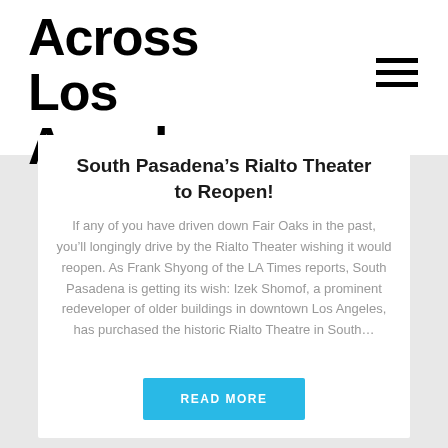Across Los Angeles
South Pasadena’s Rialto Theater to Reopen!
If any of you have driven down Fair Oaks in the past, you’ll longingly drive by the Rialto Theater wishing it would reopen. As Frank Shyong of the LA Times reports, South Pasadena is getting its wish: Izek Shomof, a prominent redeveloper of older buildings in downtown Los Angeles, has purchased the historic Rialto Theatre in South…
READ MORE